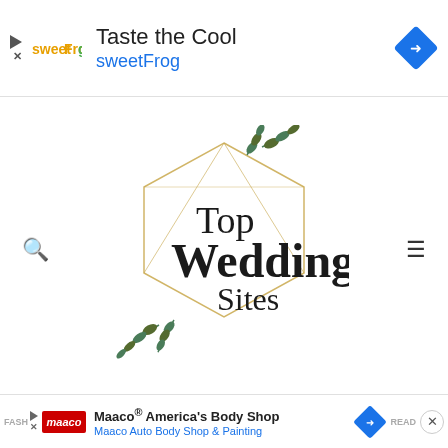[Figure (screenshot): Top advertisement banner for sweetFrog: 'Taste the Cool sweetFrog' with sweetFrog logo and blue diamond navigation icon]
[Figure (logo): Top Wedding Sites logo — geometric gold hexagon with green olive branches, text 'Top Wedding Sites' in serif/display font]
[Figure (photo): Partial photo of a person in a gray/light wedding dress, cropped at waist and above, with dark bokeh background]
[Figure (screenshot): Bottom advertisement banner for Maaco: 'Maaco® America's Body Shop — Maaco Auto Body Shop & Painting' with Maaco logo and navigation diamond icon, close button. Navigation tabs partially visible: FASH... and READ...]